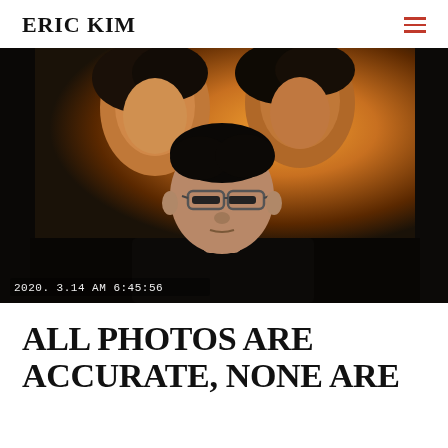ERIC KIM
[Figure (photo): A man wearing glasses takes a selfie in front of a large illuminated billboard displaying two female models. Timestamp in lower left reads: 2020. 3.14 AM 6:45:56]
ALL PHOTOS ARE ACCURATE, NONE ARE